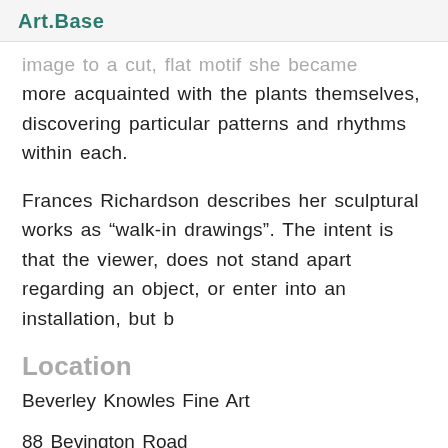Art.Base
image to a cut, flat motif she became more acquainted with the plants themselves, discovering particular patterns and rhythms within each.
Frances Richardson describes her sculptural works as “walk-in drawings”. The intent is that the viewer, does not stand apart regarding an object, or enter into an installation, but b
Location
Beverley Knowles Fine Art
88 Bevington Road
London